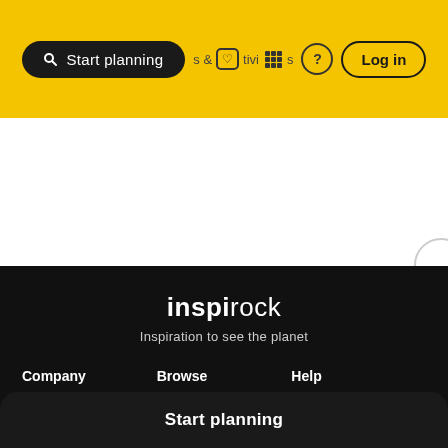Start planning  &  tivities  ?  Log in
[Figure (screenshot): White empty content area with partial circle visible at right edge]
inspirock
Inspiration to see the planet
Company    Browse    Help
About Inspirock    Trip Planner Home    FAQ
Start planning